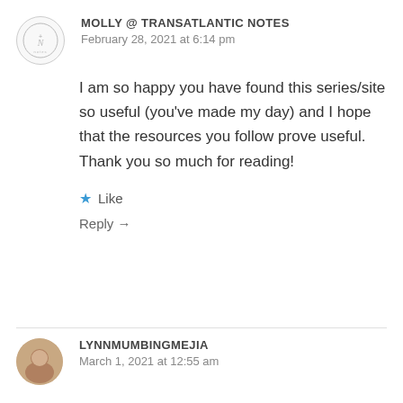MOLLY @ TRANSATLANTIC NOTES
February 28, 2021 at 6:14 pm
I am so happy you have found this series/site so useful (you've made my day) and I hope that the resources you follow prove useful. Thank you so much for reading!
Like
Reply →
LYNNMUMBINGMEJIA
March 1, 2021 at 12:55 am